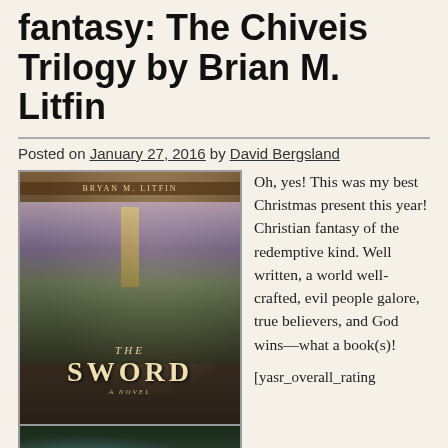fantasy: The Chiveis Trilogy by Brian M. Litfin
Posted on January 27, 2016 by David Bergsland
[Figure (photo): Book cover of 'The Sword' by Bryan M. Litfin, first book in the Chiveis Trilogy. Shows a fantasy landscape with a glowing tower, mountains, trees, and a rider on horseback. Below it is a partial second book cover showing a dark green forest scene.]
Oh, yes! This was my best Christmas present this year! Christian fantasy of the redemptive kind. Well written, a world well-crafted, evil people galore, true believers, and God wins—what a book(s)!
[yasr_overall_rating